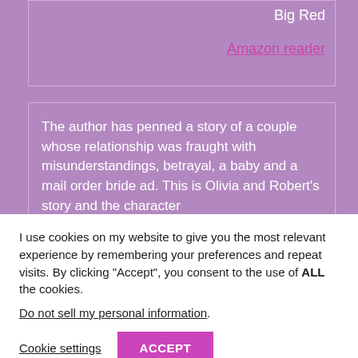Big Red
Amazon reader
The author has penned a story of a couple whose relationship was fraught with misunderstandings, betrayal, a baby and a mail order bride ad. This is Olivia and Robert's story and the character
I use cookies on my website to give you the most relevant experience by remembering your preferences and repeat visits. By clicking "Accept", you consent to the use of ALL the cookies.
Do not sell my personal information
Cookie settings
ACCEPT